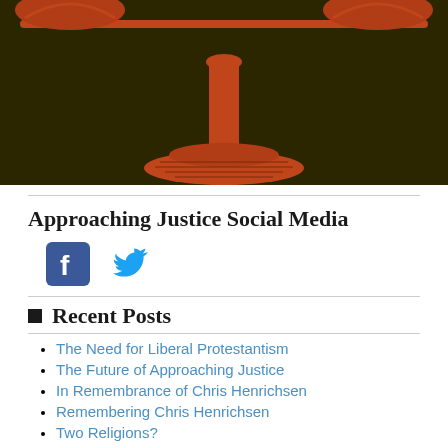[Figure (illustration): Scales of justice illustration in red/orange line art style on dark olive/brown background, showing the central pillar and base of the scales]
Approaching Justice Social Media
[Figure (logo): Facebook icon (blue square with white f) and Twitter bird icon (blue)]
Recent Posts
The Need for Liberal Protestantism
The Future of Approaching Justice
In Remembrance of Chris Henrichsen
Remembering Chris Henrichsen
Two Religions?